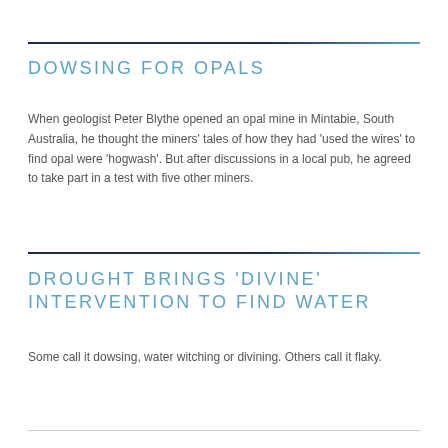DOWSING FOR OPALS
When geologist Peter Blythe opened an opal mine in Mintabie, South Australia, he thought the miners' tales of how they had 'used the wires' to find opal were 'hogwash'. But after discussions in a local pub, he agreed to take part in a test with five other miners.
DROUGHT BRINGS 'DIVINE' INTERVENTION TO FIND WATER
Some call it dowsing, water witching or divining. Others call it flaky.